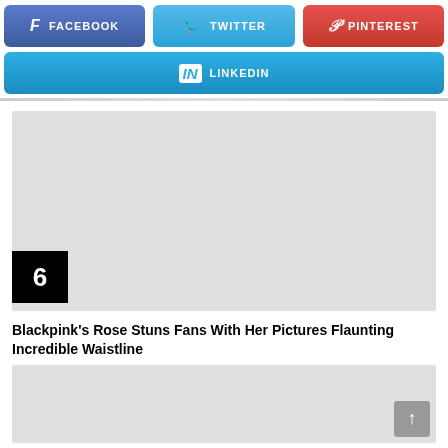[Figure (screenshot): Social share buttons row: Facebook (blue-purple), Twitter (blue), Pinterest (red)]
[Figure (screenshot): LinkedIn share button (blue gradient) spanning full width]
[Figure (photo): Gray placeholder image with number badge '6' in black box at bottom left]
Blackpink's Rose Stuns Fans With Her Pictures Flaunting Incredible Waistline
[Figure (photo): Gray placeholder image at bottom of page with scroll-to-top arrow button]